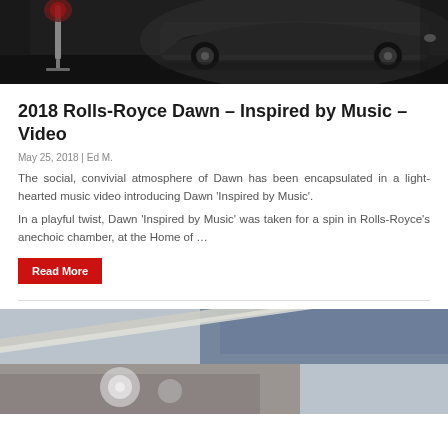[Figure (photo): Dark studio photo of a Rolls-Royce Dawn car with a vintage microphone stand in the foreground, dramatic dark background]
2018 Rolls-Royce Dawn – Inspired by Music – Video
May 25, 2018 | Ed M.
The social, convivial atmosphere of Dawn has been encapsulated in a light-hearted music video introducing Dawn 'Inspired by Music'.
In a playful twist, Dawn 'Inspired by Music' was taken for a spin in Rolls-Royce's anechoic chamber, at the Home of …
Read More
[Figure (photo): Close-up detail photo of a Rolls-Royce car exterior showing chrome trim and body panel with blurred background]